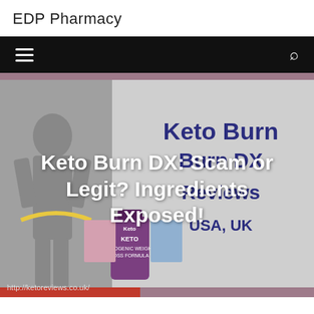EDP Pharmacy
[Figure (screenshot): Navigation bar with hamburger menu icon on left and search icon on right, black background]
[Figure (photo): Hero banner image showing a woman in fitness attire on the left, Keto Burn DX product bottle, and magazine covers. Background shows 'Keto Burn DX Reviews USA, UK' text in dark blue. Overlay white bold text reads 'Keto Burn DX: Scam or Legit? Ingredients Exposed!']
http://ketoreviews.co.uk/